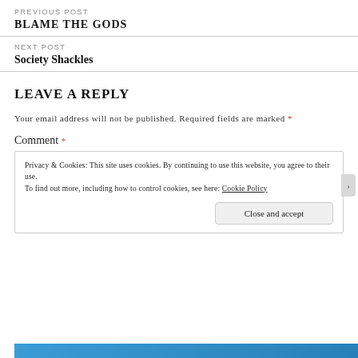PREVIOUS POST
BLAME THE GODS
NEXT POST
Society Shackles
LEAVE A REPLY
Your email address will not be published. Required fields are marked *
Comment *
Privacy & Cookies: This site uses cookies. By continuing to use this website, you agree to their use. To find out more, including how to control cookies, see here: Cookie Policy
Close and accept